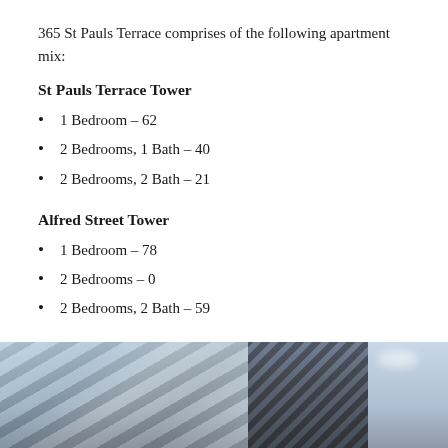365 St Pauls Terrace comprises of the following apartment mix:
St Pauls Terrace Tower
1 Bedroom – 62
2 Bedrooms, 1 Bath – 40
2 Bedrooms, 2 Bath – 21
Alfred Street Tower
1 Bedroom – 78
2 Bedrooms – 0
2 Bedrooms, 2 Bath – 59
[Figure (photo): Exterior photograph of apartment towers showing building facades with diagonal architectural striping patterns against a sky background]